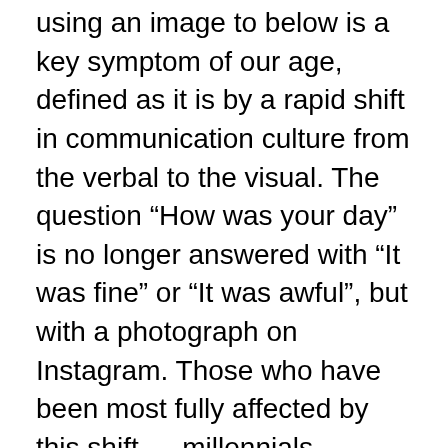using an image to below is a key symptom of our age, defined as it is by a rapid shift in communication culture from the verbal to the visual. The question “How was your day” is no longer answered with “It was fine” or “It was awful”, but with a photograph on Instagram. Those who have been most fully affected by this shift — millennials, generation Y, whichever vapid label you prefer — are, we are told by numerous headlines, having less sex than their lascivious boomer predecessors.[ii] And we are told a key reason for this is technology: screens to look at have replaced bodies to fornicate with. Even when we do have sex, pillow talk and a cigarette has been usurped by the customary post-coital Instagram scroll. A study by the Royal Society for Public Health and the Young Health Movement into social media platforms found Instagram and